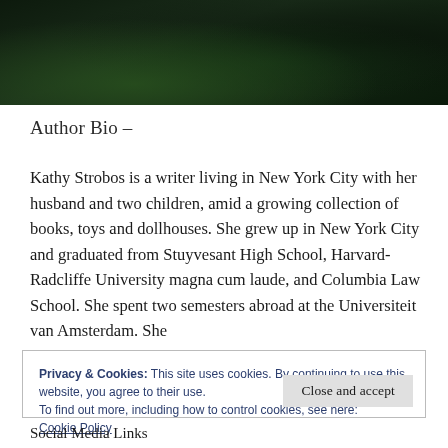[Figure (photo): Dark photo background showing dark green foliage and dark background, partially visible at top of page]
Author Bio –
Kathy Strobos is a writer living in New York City with her husband and two children, amid a growing collection of books, toys and dollhouses. She grew up in New York City and graduated from Stuyvesant High School, Harvard-Radcliffe University magna cum laude, and Columbia Law School. She spent two semesters abroad at the Universiteit van Amsterdam. She
Privacy & Cookies: This site uses cookies. By continuing to use this website, you agree to their use.
To find out more, including how to control cookies, see here:
Cookie Policy

Close and accept
Social Media Links